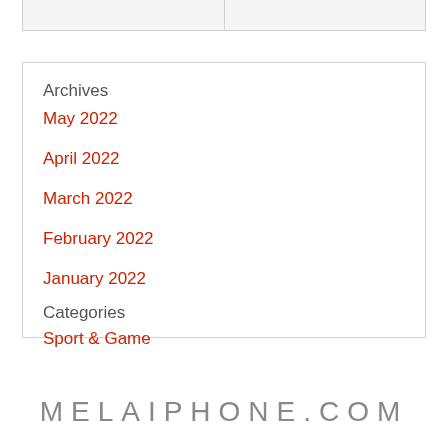Archives
May 2022
April 2022
March 2022
February 2022
January 2022
Categories
Sport & Game
MELAIPHONE.COM